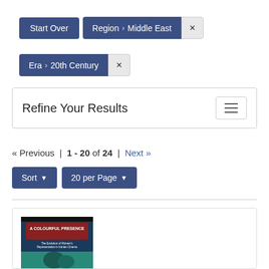Start Over
Region › Middle East ✕
Era › 20th Century ✕
Refine Your Results
« Previous | 1 - 20 of 24 | Next »
Sort ▼
20 per Page ▼
[Figure (illustration): Book cover: A Colourful Presence – The Evolution of Women's Representation in Iranian Cinema]